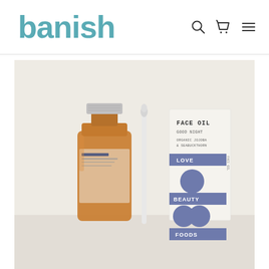banish
[Figure (photo): Product photo showing a brown amber glass bottle with silver cap (face oil), a dropper/pipette, and a rectangular product box with 'FACE OIL GOOD NIGHT ORGANIC JOJOBA & SEABUCKTHORN' text and 'LOVE BEAUTY FOODS' labels with purple/slate colored circular graphic elements, all on a light beige background.]